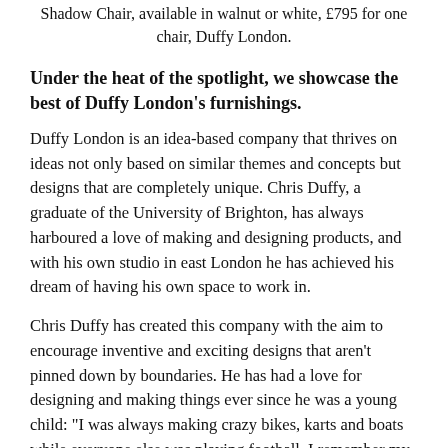Shadow Chair, available in walnut or white, £795 for one chair, Duffy London.
Under the heat of the spotlight, we showcase the best of Duffy London's furnishings.
Duffy London is an idea-based company that thrives on ideas not only based on similar themes and concepts but designs that are completely unique. Chris Duffy, a graduate of the University of Brighton, has always harboured a love of making and designing products, and with his own studio in east London he has achieved his dream of having his own space to work in.
Chris Duffy has created this company with the aim to encourage inventive and exciting designs that aren't pinned down by boundaries. He has had a love for designing and making things ever since he was a young child: “I was always making crazy bikes, karts and boats while everyone else was playing football. I remember my junior school teacher asking me what I wanted to do when I grow up, and I said that I wanted to be an inventor.” Chris’ inquisitive mind drove his ambition to create his own business. With regards to where his inspiration comes from, he said “when you have been designing for a long time, you see that all design is a process, usually a very long one, and not just an inspiration,